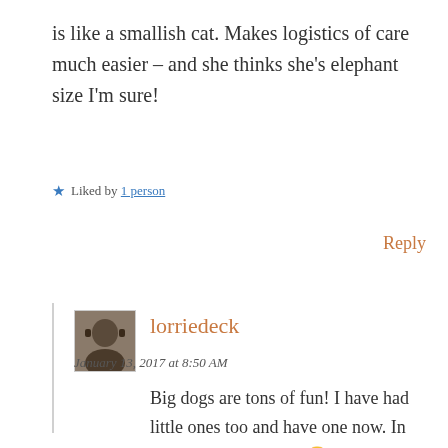is like a smallish cat. Makes logistics of care much easier – and she thinks she's elephant size I'm sure!
Liked by 1 person
Reply
lorriedeck
January 13, 2017 at 8:50 AM
Big dogs are tons of fun! I have had little ones too and have one now. In addition to our Saint. 🙂